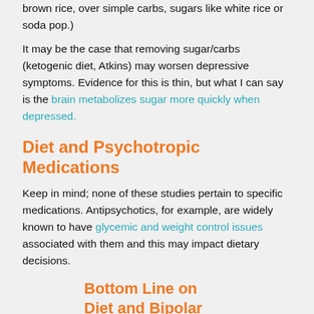brown rice, over simple carbs, sugars like white rice or soda pop.)
It may be the case that removing sugar/carbs (ketogenic diet, Atkins) may worsen depressive symptoms. Evidence for this is thin, but what I can say is the brain metabolizes sugar more quickly when depressed.
Diet and Psychotropic Medications
Keep in mind; none of these studies pertain to specific medications. Antipsychotics, for example, are widely known to have glycemic and weight control issues associated with them and this may impact dietary decisions.
Bottom Line on Diet and Bipolar Disorder
The primary first...